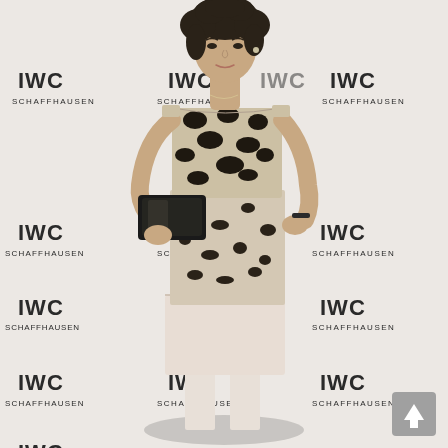[Figure (photo): A woman wearing a black and white leopard print sleeveless dress with a cream/blush hem panel, holding a black clutch bag, standing in front of an IWC Schaffhausen branded step-and-repeat backdrop. A grey scroll-to-top button is visible in the bottom right corner.]